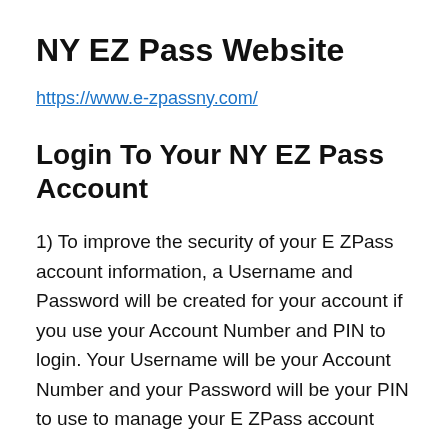NY EZ Pass Website
https://www.e-zpassny.com/
Login To Your NY EZ Pass Account
1) To improve the security of your E ZPass account information, a Username and Password will be created for your account if you use your Account Number and PIN to login. Your Username will be your Account Number and your Password will be your PIN to use to manage your E ZPass account